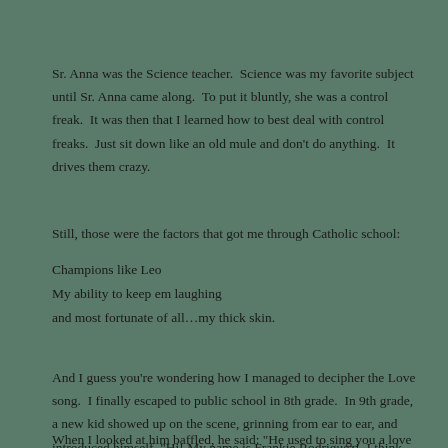Sr. Anna was the Science teacher.  Science was my favorite subject until Sr. Anna came along.  To put it bluntly, she was a control freak.  It was then that I learned how to best deal with control freaks.  Just sit down like an old mule and don’t do anything.  It drives them crazy.
Still, those were the factors that got me through Catholic school:
Champions like Leo
My ability to keep em laughing
and most fortunate of all…my thick skin.
And I guess you’re wondering how I managed to decipher the Love song.  I finally escaped to public school in 8th grade.  In 9th grade, a new kid showed up on the scene, grinning from ear to ear, and introduced himself, “Hi! My name is Frankie Rodriguez!  I think you know my father.”
When I looked at him baffled, he said: “He used to sing you a love song